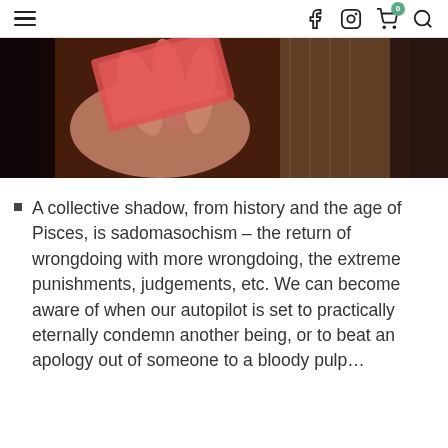Navigation header with hamburger menu, Facebook icon, Instagram icon, cart (0), and search icon
[Figure (photo): Close-up photograph of a hand holding playing cards against a patterned background]
A collective shadow, from history and the age of Pisces, is sadomasochism – the return of wrongdoing with more wrongdoing, the extreme punishments, judgements, etc. We can become aware of when our autopilot is set to practically eternally condemn another being, or to beat an apology out of someone to a bloody pulp…